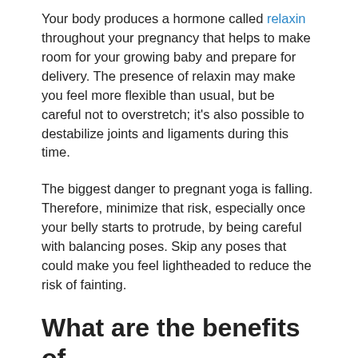Your body produces a hormone called relaxin throughout your pregnancy that helps to make room for your growing baby and prepare for delivery. The presence of relaxin may make you feel more flexible than usual, but be careful not to overstretch; it's also possible to destabilize joints and ligaments during this time.
The biggest danger to pregnant yoga is falling. Therefore, minimize that risk, especially once your belly starts to protrude, by being careful with balancing poses. Skip any poses that could make you feel lightheaded to reduce the risk of fainting.
What are the benefits of prenatal yoga?
Physical benefits